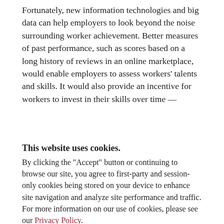Fortunately, new information technologies and big data can help employers to look beyond the noise surrounding worker achievement. Better measures of past performance, such as scores based on a long history of reviews in an online marketplace, would enable employers to assess workers' talents and skills. It would also provide an incentive for workers to invest in their skills over time —
This website uses cookies.
By clicking the "Accept" button or continuing to browse our site, you agree to first-party and session-only cookies being stored on your device to enhance site navigation and analyze site performance and traffic. For more information on our use of cookies, please see our Privacy Policy.